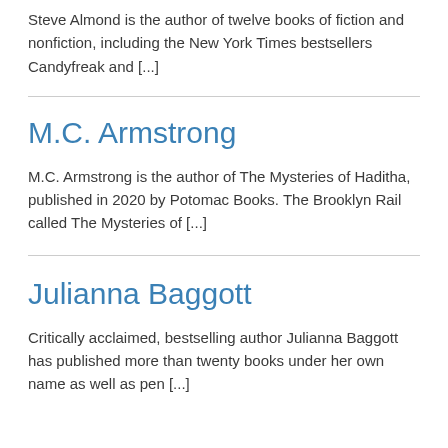Steve Almond is the author of twelve books of fiction and nonfiction, including the New York Times bestsellers Candyfreak and [...]
M.C. Armstrong
M.C. Armstrong is the author of The Mysteries of Haditha, published in 2020 by Potomac Books. The Brooklyn Rail called The Mysteries of [...]
Julianna Baggott
Critically acclaimed, bestselling author Julianna Baggott has published more than twenty books under her own name as well as pen [...]